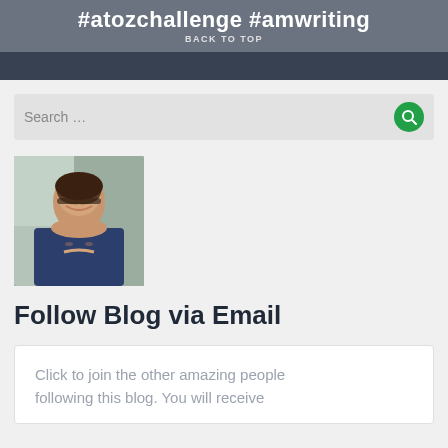#atozchallenge #amwriting
BACK TO TOP
[Figure (photo): Young woman with glasses and long dark hair, smiling, resting chin on hand, wearing dark top, indoor background]
Follow Blog via Email
Click to join the other amazing people following this blog. You will receive